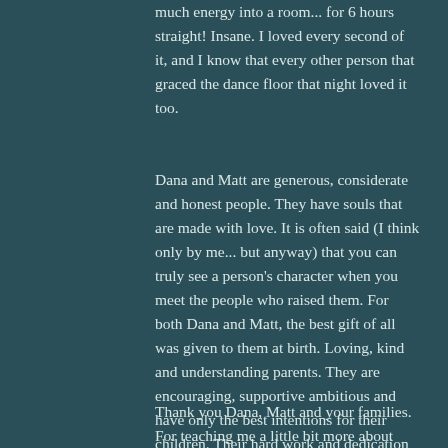much energy into a room... for 6 hours straight! Insane. I loved every second of it, and I know that every other person that graced the dance floor that night loved it too.
Dana and Matt are generous, considerate and honest people. They have souls that are made with love. It is often said (I think only by me... but anyway) that you can truly see a person's character when you meet the people who raised them. For both Dana and Matt, the best gift of all was given to them at birth. Loving, kind and understanding parents. They are encouraging, supportive ambitious and have only the best intentions for their children. Their hard work and dedication to this game of parenting has paid off. And it was more than clear on their faces throughout the entire day.
Thank you Dana, Matt and your families. For teaching me a little bit more about love, patience and